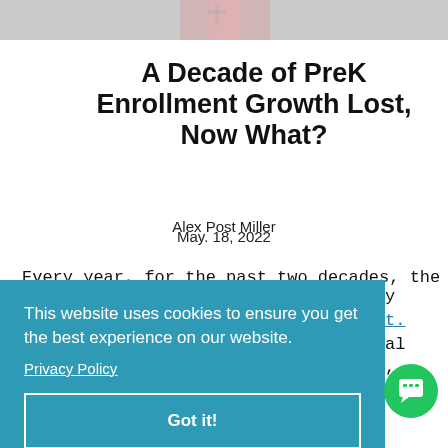[Figure (photo): Top portion of a photo showing a child in pink clothing against a light background]
A Decade of PreK Enrollment Growth Lost, Now What?
Alex Post Miller
May. 18, 2022
Every year, for the past two decades, the
This website uses cookies to ensure you get the best experience on our website.
Privacy Policy
Got it!
2021 school year illustrated the pandemic